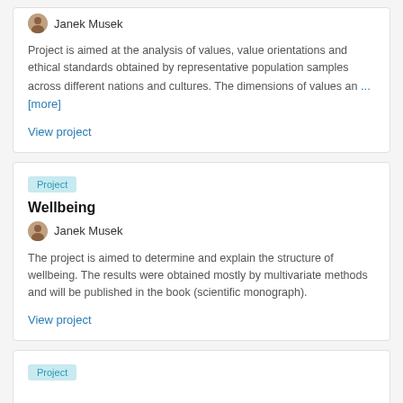Janek Musek
Project is aimed at the analysis of values, value orientations and ethical standards obtained by representative population samples across different nations and cultures. The dimensions of values an ... [more]
View project
Project
Wellbeing
Janek Musek
The project is aimed to determine and explain the structure of wellbeing. The results were obtained mostly by multivariate methods and will be published in the book (scientific monograph).
View project
Project